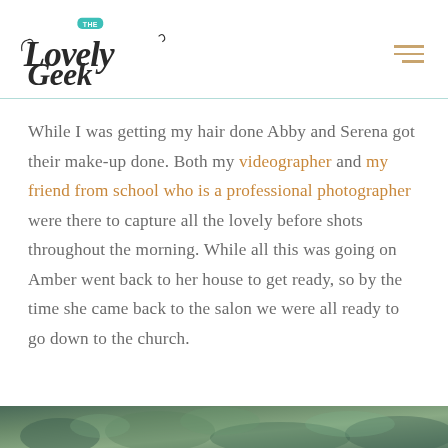The Lovely Geek [logo] [hamburger menu]
While I was getting my hair done Abby and Serena got their make-up done. Both my videographer and my friend from school who is a professional photographer were there to capture all the lovely before shots throughout the morning. While all this was going on Amber went back to her house to get ready, so by the time she came back to the salon we were all ready to go down to the church.
[Figure (photo): Partial view of a photo at the bottom of the page, showing greenery/floral decoration with a blurred background.]